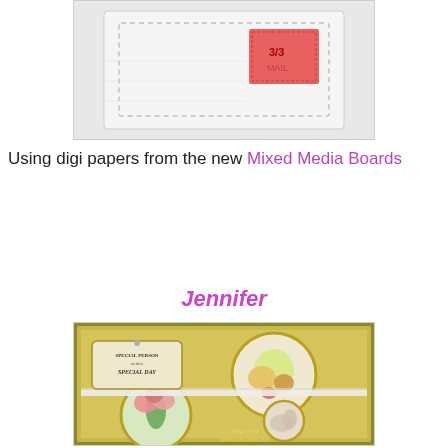[Figure (photo): Craft project photo showing a white fabric/paper item with a red postage stamp, bordered with white dashed stitching, on a light background.]
Using digi papers from the new Mixed Media Boards
Jennifer
[Figure (photo): Handmade greeting card by Jennifer (Jenni-Loo Crafty Den) featuring gold circular frames with floral artwork including yellow roses, pink carnations, and a swan. The card has an olive/gold damask background, lace ribbon trim, and a decorative label reading 'Special Person on their Special Day'.]